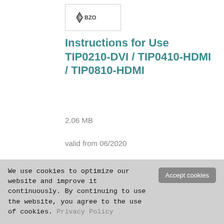[Figure (logo): BZO company logo with diamond/arrow icon inside a bordered box]
Instructions for Use TIP0210-DVI / TIP0410-HDMI / TIP0810-HDMI
2.06 MB
valid from 06/2020
[lock icon] [redacted text]
[unlock icon] [redacted download button]
We use cookies to optimize our website and improve it continuously. By continuing to use the website, you agree to the use of cookies. Privacy Policy